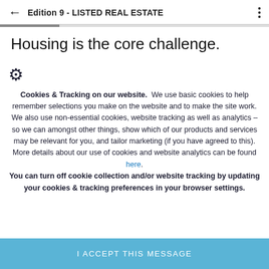Edition 9 - LISTED REAL ESTATE
Housing is the core challenge.
Cookies & Tracking on our website. We use basic cookies to help remember selections you make on the website and to make the site work. We also use non-essential cookies, website tracking as well as analytics – so we can amongst other things, show which of our products and services may be relevant for you, and tailor marketing (if you have agreed to this). More details about our use of cookies and website analytics can be found here. You can turn off cookie collection and/or website tracking by updating your cookies & tracking preferences in your browser settings.
I ACCEPT THIS MESSAGE